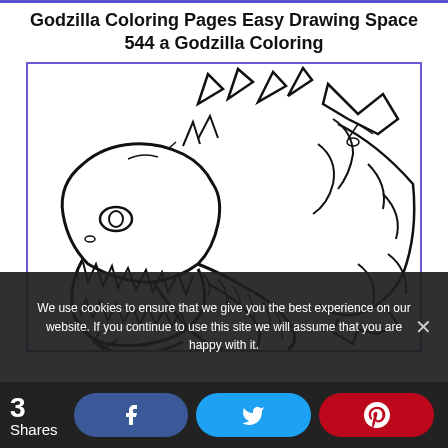Godzilla Coloring Pages Easy Drawing Space 544 a Godzilla Coloring
[Figure (illustration): Black and white coloring page illustration of Godzilla with open mouth showing teeth, scales, spines on back, claws, drawn in simple outline style suitable for coloring.]
We use cookies to ensure that we give you the best experience on our website. If you continue to use this site we will assume that you are happy with it.
3 Shares